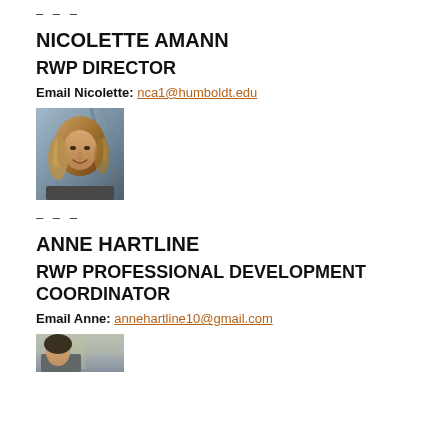– – –
NICOLETTE AMANN
RWP DIRECTOR
Email Nicolette: nca1@humboldt.edu
[Figure (photo): Portrait photo of Nicolette Amann, a woman with long wavy blonde-brown hair, smiling, outdoor background]
– – –
ANNE HARTLINE
RWP PROFESSIONAL DEVELOPMENT COORDINATOR
Email Anne: annehartline10@gmail.com
[Figure (photo): Partial portrait photo of Anne Hartline, partially visible at bottom of page]